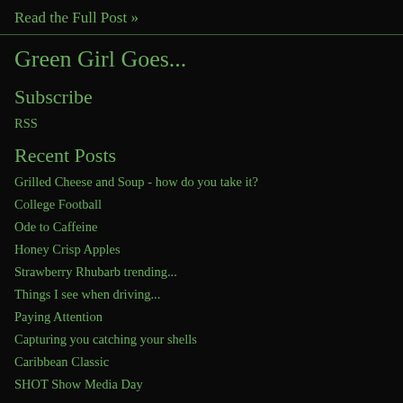Read the Full Post »
Green Girl Goes...
Subscribe
RSS
Recent Posts
Grilled Cheese and Soup - how do you take it?
College Football
Ode to Caffeine
Honey Crisp Apples
Strawberry Rhubarb trending...
Things I see when driving...
Paying Attention
Capturing you catching your shells
Caribbean Classic
SHOT Show Media Day
Keywords
green girl photos